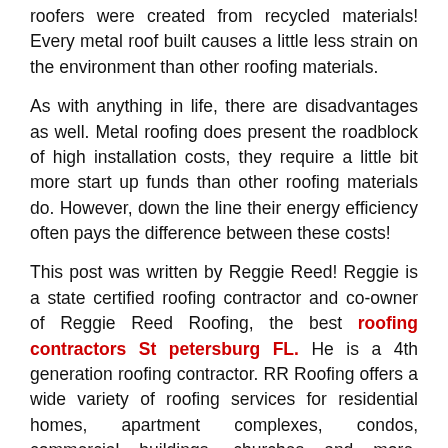roofers were created from recycled materials! Every metal roof built causes a little less strain on the environment than other roofing materials.
As with anything in life, there are disadvantages as well. Metal roofing does present the roadblock of high installation costs, they require a little bit more start up funds than other roofing materials do. However, down the line their energy efficiency often pays the difference between these costs!
This post was written by Reggie Reed! Reggie is a state certified roofing contractor and co-owner of Reggie Reed Roofing, the best roofing contractors St petersburg FL. He is a 4th generation roofing contractor. RR Roofing offers a wide variety of roofing services for residential homes, apartment complexes, condos, commercial buildings, churches and more. Reggie enjoys dedicating his spare time to helping and enriching those this his community and...